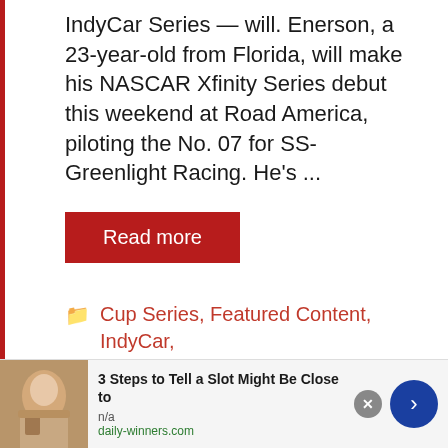IndyCar Series — will. Enerson, a 23-year-old from Florida, will make his NASCAR Xfinity Series debut this weekend at Road America, piloting the No. 07 for SS-Greenlight Racing. He's ...
Read more
Cup Series, Featured Content, IndyCar, Kevin Rutherford, NASCAR 101, Truck Series, Xfinity
AJ Allmendinger, Conor Daly, Jack ...
[Figure (other): Advertisement banner: 3 Steps to Tell a Slot Might Be Close to, n/a, daily-winners.com]